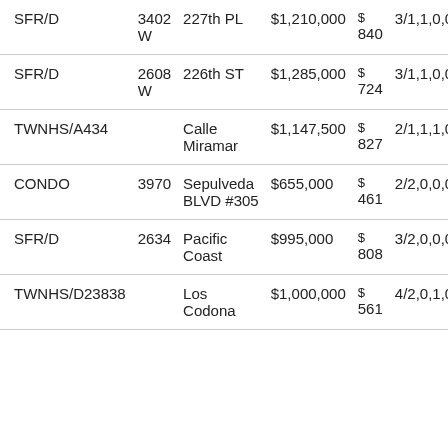| Type | Num | Street | Price | $/sqft | Beds/Baths | Sqft |
| --- | --- | --- | --- | --- | --- | --- |
| SFR/D | 3402 W | 227th PL | $1,210,000 | $ 840 | 3/1,1,0,0 | 144... |
| SFR/D | 2608 W | 226th ST | $1,285,000 | $ 724 | 3/1,1,0,0 | 177... |
| TWNHS/A | 434 | Calle Miramar | $1,147,500 | $ 827 | 2/1,1,1,0 | 138... |
| CONDO | 3970 | Sepulveda BLVD #305 | $655,000 | $ 461 | 2/2,0,0,0 | 142... |
| SFR/D | 2634 | Pacific Coast | $995,000 | $ 808 | 3/2,0,0,0 | 123... |
| TWNHS/D | 23838 | Los Codona | $1,000,000 | $ 561 | 4/2,0,1,0 | 178... |